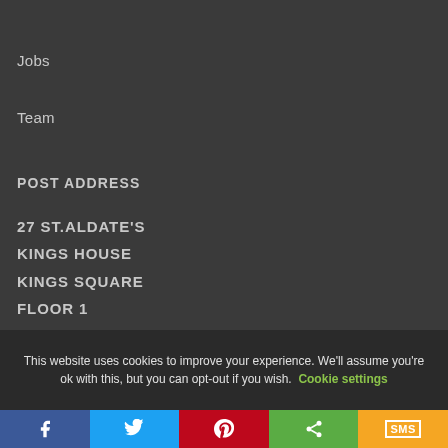Jobs
Team
POST ADDRESS
27 ST.ALDATE'S
KINGS HOUSE
KINGS SQUARE
FLOOR 1
GLOUCESTER
This website uses cookies to improve your experience. We'll assume you're ok with this, but you can opt-out if you wish. Cookie settings
Facebook Twitter Pinterest Share SMS